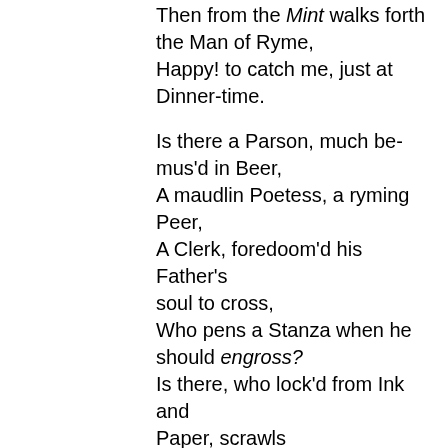Then from the Mint walks forth the Man of Ryme, Happy! to catch me, just at Dinner-time.

Is there a Parson, much be-mus'd in Beer, A maudlin Poetess, a ryming Peer, A Clerk, foredoom'd his Father's soul to cross, Who pens a Stanza when he should engross? Is there, who lock'd from Ink and Paper, scrawls With desp'rate Charcoal round his darken'd walls? All fly to Twit'nam, and in humble strain Apply to me, to keep them mad or vain. Arthur, whose giddy Son neglects the Laws, Imputes to me and my damn'd works the cause: Poor Cornus sees his frantic